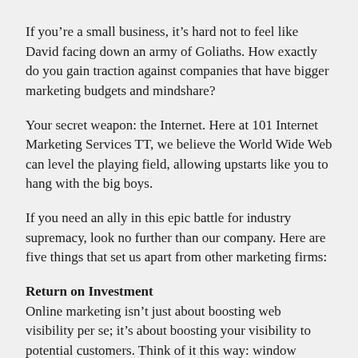If you’re a small business, it’s hard not to feel like David facing down an army of Goliaths. How exactly do you gain traction against companies that have bigger marketing budgets and mindshare?
Your secret weapon: the Internet. Here at 101 Internet Marketing Services TT, we believe the World Wide Web can level the playing field, allowing upstarts like you to hang with the big boys.
If you need an ally in this epic battle for industry supremacy, look no further than our company. Here are five things that set us apart from other marketing firms:
Return on Investment
Online marketing isn’t just about boosting web visibility per se; it’s about boosting your visibility to potential customers. Think of it this way: window shopping generates no sales. Only by targeting genuinely interested leads can you gain a healthy return on investment—and justify hiring an online